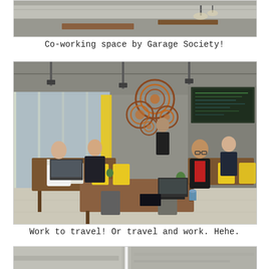[Figure (photo): Top portion of a co-working space interior photo showing tables, hanging lights, and industrial ceiling]
Co-working space by Garage Society!
[Figure (photo): Co-working space by Garage Society interior showing people working at tables, yellow chairs, decorative circular wall art, large windows, chalkboard menu, and industrial ceiling]
Work to travel! Or travel and work. Hehe.
[Figure (photo): Bottom strip of another photo partially visible]